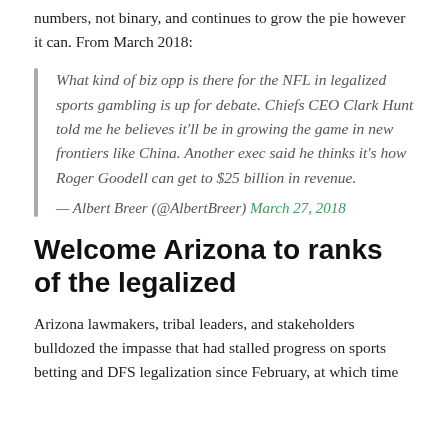numbers, not binary, and continues to grow the pie however it can. From March 2018:
What kind of biz opp is there for the NFL in legalized sports gambling is up for debate. Chiefs CEO Clark Hunt told me he believes it'll be in growing the game in new frontiers like China. Another exec said he thinks it's how Roger Goodell can get to $25 billion in revenue.
— Albert Breer (@AlbertBreer) March 27, 2018
Welcome Arizona to ranks of the legalized
Arizona lawmakers, tribal leaders, and stakeholders bulldozed the impasse that had stalled progress on sports betting and DFS legalization since February, at which time